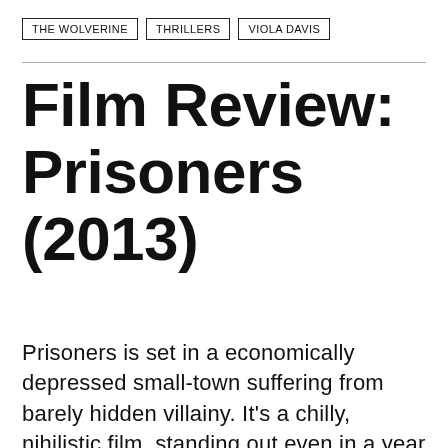THE WOLVERINE | THRILLERS | VIOLA DAVIS
Film Review: Prisoners (2013)
Prisoners is set in a economically depressed small-town suffering from barely hidden villainy. It's a chilly, nihilistic film, standing out even in a year filled with pessimism. Most of this you've seen before and most of it